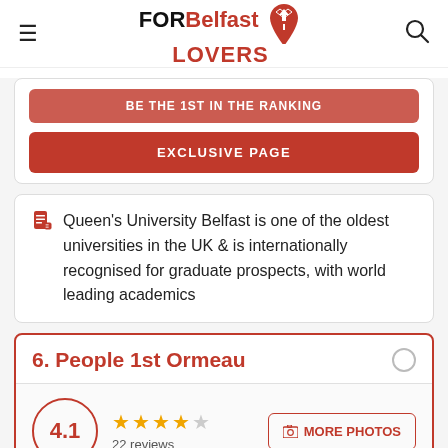FOR Belfast LOVERS
BE THE 1ST IN THE RANKING
EXCLUSIVE PAGE
Queen's University Belfast is one of the oldest universities in the UK & is internationally recognised for graduate prospects, with world leading academics
6. People 1st Ormeau
4.1 — 22 reviews — MORE PHOTOS